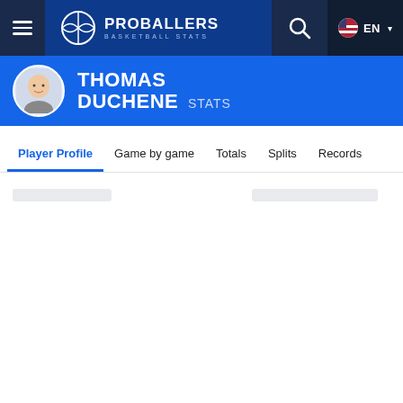PROBALLERS BASKETBALL STATS — Navigation bar with menu, logo, search, and language selector (EN)
THOMAS DUCHENE STATS
Player Profile  Game by game  Totals  Splits  Records